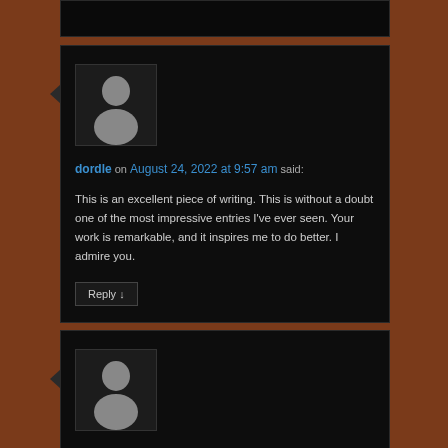[Figure (illustration): Default user avatar silhouette (grey figure on dark background) for user dordle]
dordle on August 24, 2022 at 9:57 am said:
This is an excellent piece of writing. This is without a doubt one of the most impressive entries I've ever seen. Your work is remarkable, and it inspires me to do better. I admire you.
Reply ↓
[Figure (illustration): Default user avatar silhouette (grey figure on dark background) for user Ramesh]
Ramesh on August 25, 2022 at 7:14 am said: